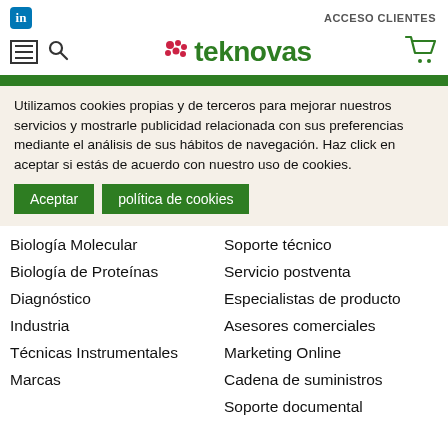in | ACCESO CLIENTES
[Figure (logo): Teknovas logo with green text and pink/red dot cluster, navigation icons (hamburger menu, search, cart)]
Utilizamos cookies propias y de terceros para mejorar nuestros servicios y mostrarle publicidad relacionada con sus preferencias mediante el análisis de sus hábitos de navegación. Haz click en aceptar si estás de acuerdo con nuestro uso de cookies.
Aceptar | política de cookies
Biología Molecular
Biología de Proteínas
Diagnóstico
Industria
Técnicas Instrumentales
Marcas
Soporte técnico
Servicio postventa
Especialistas de producto
Asesores comerciales
Marketing Online
Cadena de suministros
Soporte documental